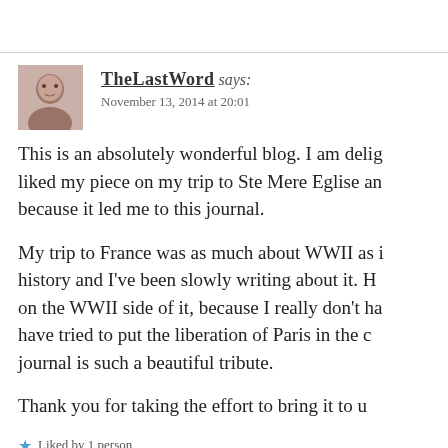TheLastWord says: November 13, 2014 at 20:01
This is an absolutely wonderful blog. I am delighted he liked my piece on my trip to Ste Mere Eglise and because it led me to this journal.
My trip to France was as much about WWII as it is about history and I've been slowly writing about it. H on the WWII side of it, because I really don't ha have tried to put the liberation of Paris in the c journal is such a beautiful tribute.
Thank you for taking the effort to bring it to u
Liked by 1 person
Reply